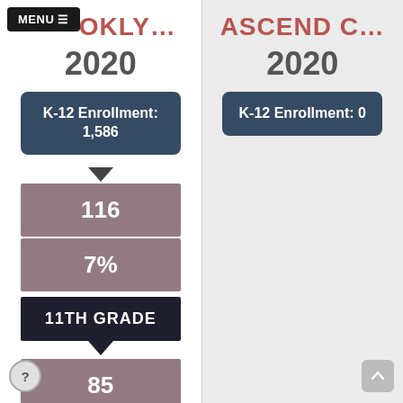MENU ≡
BRO​OKLY…
2020
K-12 Enrollment: 1,586
116
7%
11TH GRADE
85
ASCEND C…
2020
K-12 Enrollment: 0